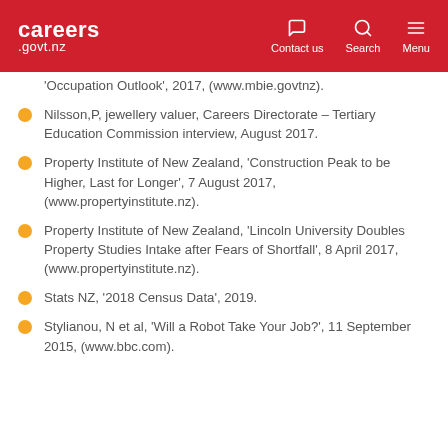careers .govt.nz | Contact us | Search | Menu
'Occupation Outlook', 2017, (www.mbie.govtnz).
Nilsson,P, jewellery valuer, Careers Directorate – Tertiary Education Commission interview, August 2017.
Property Institute of New Zealand, 'Construction Peak to be Higher, Last for Longer', 7 August 2017, (www.propertyinstitute.nz).
Property Institute of New Zealand, 'Lincoln University Doubles Property Studies Intake after Fears of Shortfall', 8 April 2017, (www.propertyinstitute.nz).
Stats NZ, '2018 Census Data', 2019.
Stylianou, N et al, 'Will a Robot Take Your Job?', 11 September 2015, (www.bbc.com).